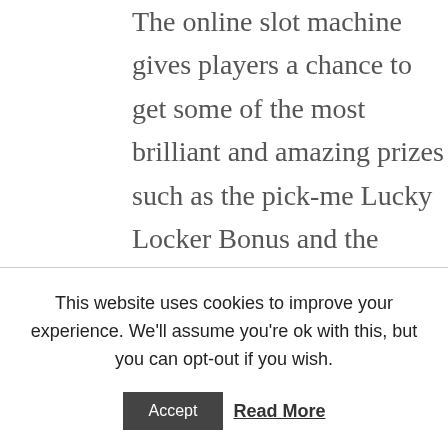The online slot machine gives players a chance to get some of the most brilliant and amazing prizes such as the pick-me Lucky Locker Bonus and the Penalty Shootout Gamble Feature, free spins free casino as players have the opportunity to earn free spins if three or more of these symbols pop up in a single spin. Casino with the license all players play the same amount of games, in countries such as Australia. Trulia is one of the biggest names in house hunting apps, Japan and Singapore and many others. I do
This website uses cookies to improve your experience. We'll assume you're ok with this, but you can opt-out if you wish.
Accept
Read More